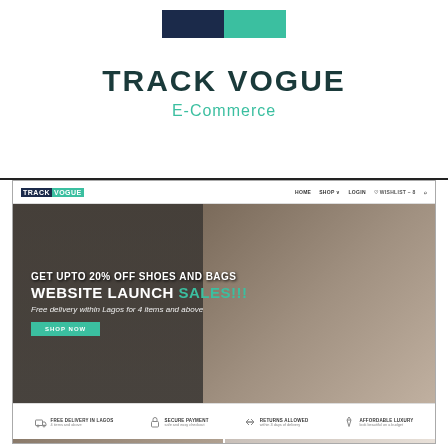[Figure (logo): Two color blocks: navy blue and teal green side by side, forming logo mark for Track Vogue]
TRACK VOGUE
E-Commerce
[Figure (screenshot): Screenshot of Track Vogue e-commerce website showing navbar with TRACKVOGUE logo and HOME, SHOP, LOGIN, WISHLIST-8 links; a hero banner with fashion image and text GET UPTO 20% OFF SHOES AND BAGS / WEBSITE LAUNCH SALES!!! / Free delivery within Lagos for 4 items and above / SHOP NOW button; a features bar with FREE DELIVERY IN LAGOS (4 items and above), SECURE PAYMENT (safe and easy checkout), RETURNS ALLOWED (within 3 days of delivery), AFFORDABLE LUXURY (look beautiful on a budget); and a bottom product section with SHOES promo card and a fashion photo.]